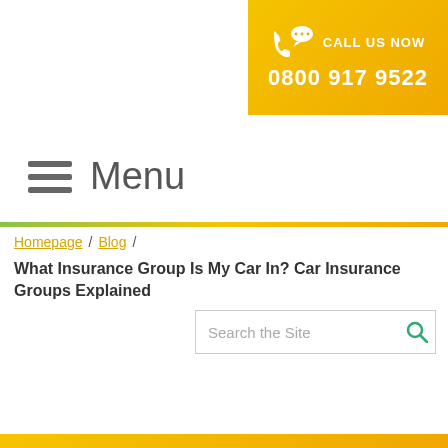[Figure (infographic): Yellow/gold call-to-action banner in top right corner with phone icon, chat bubble icon, text CALL US NOW and phone number 0800 917 9522]
Menu
Homepage / Blog /
What Insurance Group Is My Car In? Car Insurance Groups Explained
Search the Site